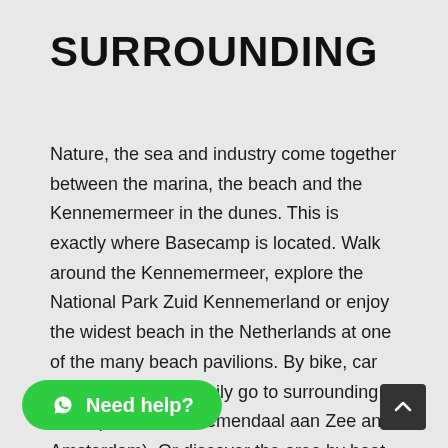SURROUNDING
Nature, the sea and industry come together between the marina, the beach and the Kennemermeer in the dunes. This is exactly where Basecamp is located. Walk around the Kennemermeer, explore the National Park Zuid Kennemerland or enjoy the widest beach in the Netherlands at one of the many beach pavilions. By bike, car and bus you can easily go to surrounding cities (Haarlem, Bloemendaal aan Zee and Amsterdam). Or discover the area by boat. Moor the boat in the adjacent marina and defy the North Sea Canal from here.